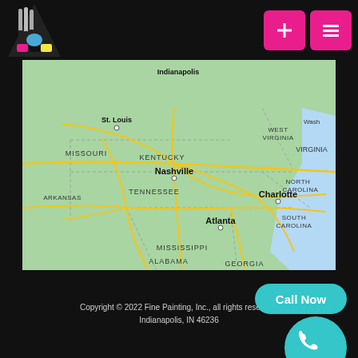[Figure (logo): Fine Painting Inc logo with paintbrushes and triangle shape]
[Figure (map): Google Maps view of southeastern United States showing states: Missouri, Kentucky, West Virginia, Virginia, Arkansas, Tennessee, North Carolina, Mississippi, Alabama, South Carolina, Georgia. Cities marked: St. Louis, Indianapolis, Nashville, Charlotte, Atlanta.]
Copyright © 2022 Fine Painting, Inc., all rights reserved.
Indianapolis, IN 46236
[Figure (other): Call Now button (teal rounded rectangle)]
[Figure (other): Teal circle with phone icon]